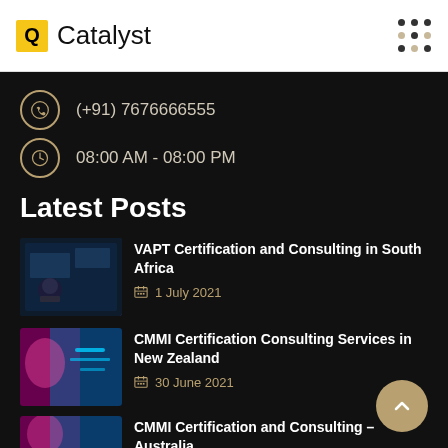Q Catalyst
(+91) 7676666555
08:00 AM - 08:00 PM
Latest Posts
VAPT Certification and Consulting in South Africa — 1 July 2021
CMMI Certification Consulting Services in New Zealand — 30 June 2021
CMMI Certification and Consulting – Australia